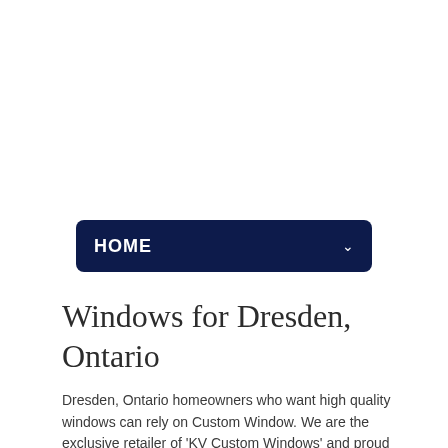[Figure (screenshot): Navigation dropdown bar with dark navy blue background showing 'HOME' text and a chevron dropdown indicator]
Windows for Dresden, Ontario
Dresden, Ontario homeowners who want high quality windows can rely on Custom Window. We are the exclusive retailer of 'KV Custom Windows' and proud of it. We